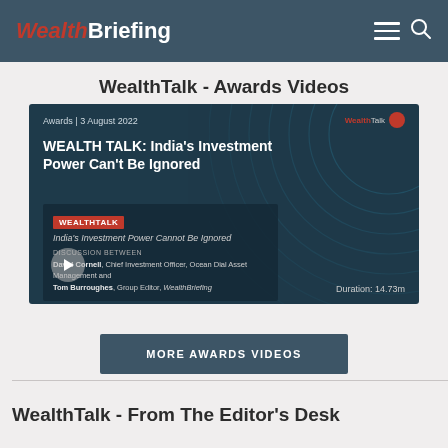WealthBriefing
WealthTalk - Awards Videos
[Figure (screenshot): Video thumbnail for WEALTH TALK: India's Investment Power Can't Be Ignored. Awards | 3 August 2022. Discussion between David Cornell, Chief Investment Officer, Ocean Dial Asset Management and Tom Burroughes, Group Editor, WealthBriefing. Duration: 14.73m]
MORE AWARDS VIDEOS
WealthTalk - From The Editor's Desk